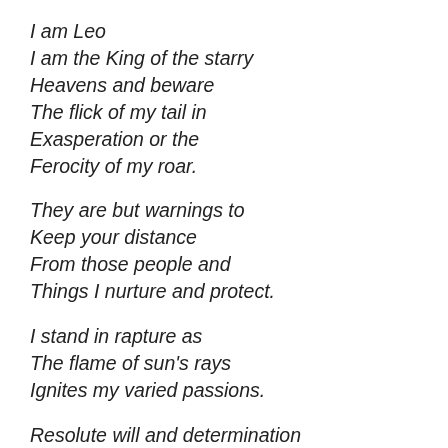I am Leo
I am the King of the starry
Heavens and beware
The flick of my tail in
Exasperation or the
Ferocity of my roar.

They are but warnings to
Keep your distance
From those people and
Things I nurture and protect.

I stand in rapture as
The flame of sun's rays
Ignites my varied passions.

Resolute will and determination